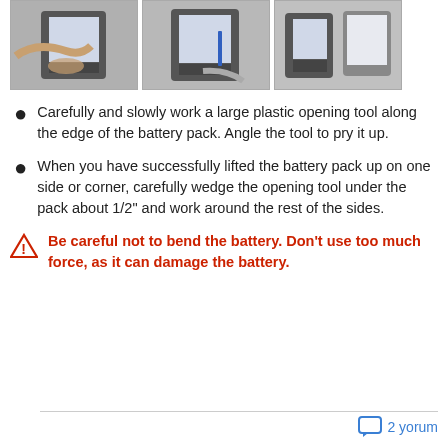[Figure (photo): Three photos showing hands using a plastic tool to open a tablet/e-reader battery pack]
Carefully and slowly work a large plastic opening tool along the edge of the battery pack. Angle the tool to pry it up.
When you have successfully lifted the battery pack up on one side or corner, carefully wedge the opening tool under the pack about 1/2" and work around the rest of the sides.
Be careful not to bend the battery. Don't use too much force, as it can damage the battery.
2 yorum